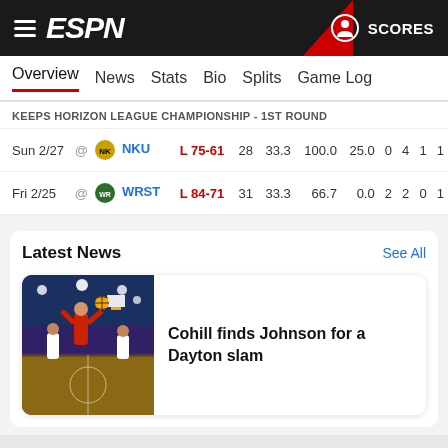ESPN - SCORES
Overview  News  Stats  Bio  Splits  Game Log
KEEPS HORIZON LEAGUE CHAMPIONSHIP - 1ST ROUND
| Date | Location | Team | Result | Score | Stat1 | Stat2 | Stat3 | Stat4 | Stat5 | Stat6 | Stat7 |
| --- | --- | --- | --- | --- | --- | --- | --- | --- | --- | --- | --- |
| Sun 2/27 | @ | NKU | L 75-61 | 28 | 33.3 | 100.0 | 25.0 | 0 | 4 | 1 | 1 |
| Fri 2/25 | @ | WRST | L 84-71 | 31 | 33.3 | 66.7 | 0.0 | 2 | 2 | 0 | 1 |
Latest News
See All
[Figure (photo): Basketball game action shot - player going up for a dunk or slam in a red uniform]
Cohill finds Johnson for a Dayton slam